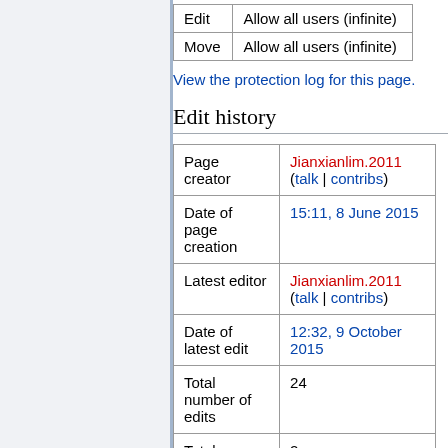| Action | Status |
| --- | --- |
| Edit | Allow all users (infinite) |
| Move | Allow all users (infinite) |
View the protection log for this page.
Edit history
| Field | Value |
| --- | --- |
| Page creator | Jianxianlim.2011 (talk | contribs) |
| Date of page creation | 15:11, 8 June 2015 |
| Latest editor | Jianxianlim.2011 (talk | contribs) |
| Date of latest edit | 12:32, 9 October 2015 |
| Total number of edits | 24 |
| Total number of distinct authors | 2 |